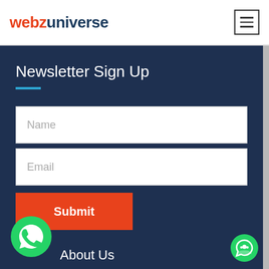webzuniverse
[Figure (infographic): Hamburger menu icon (three horizontal lines) in a square border]
Newsletter Sign Up
Name
Email
Submit
[Figure (logo): WhatsApp icon — green circle with white phone handset in speech bubble]
About Us
[Figure (infographic): Green chat bubble floating button in bottom right corner]